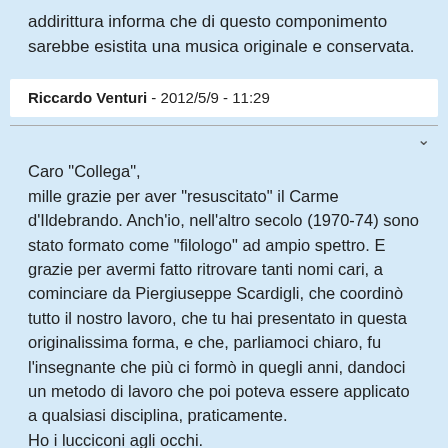addirittura informa che di questo componimento sarebbe esistita una musica originale e conservata.
Riccardo Venturi - 2012/5/9 - 11:29
Caro "Collega",
mille grazie per aver "resuscitato" il Carme d'Ildebrando. Anch'io, nell'altro secolo (1970-74) sono stato formato come "filologo" ad ampio spettro. E grazie per avermi fatto ritrovare tanti nomi cari, a cominciare da Piergiuseppe Scardigli, che coordinò tutto il nostro lavoro, che tu hai presentato in questa originalissima forma, e che, parliamoci chiaro, fu l'insegnante che più ci formò in quegli anni, dandoci un metodo di lavoro che poi poteva essere applicato a qualsiasi disciplina, praticamente.
Ho i lucciconi agli occhi.
Il tuo collega Massimo Ciachi.